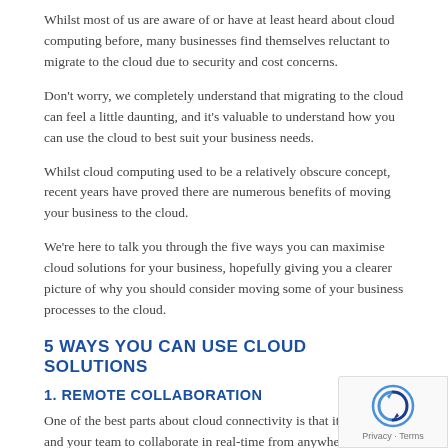Whilst most of us are aware of or have at least heard about cloud computing before, many businesses find themselves reluctant to migrate to the cloud due to security and cost concerns.
Don't worry, we completely understand that migrating to the cloud can feel a little daunting, and it's valuable to understand how you can use the cloud to best suit your business needs.
Whilst cloud computing used to be a relatively obscure concept, recent years have proved there are numerous benefits of moving your business to the cloud.
We're here to talk you through the five ways you can maximise cloud solutions for your business, hopefully giving you a clearer picture of why you should consider moving some of your business processes to the cloud.
5 WAYS YOU CAN USE CLOUD SOLUTIONS
1. REMOTE COLLABORATION
One of the best parts about cloud connectivity is that it allows you and your team to collaborate in real-time from anywhere in...